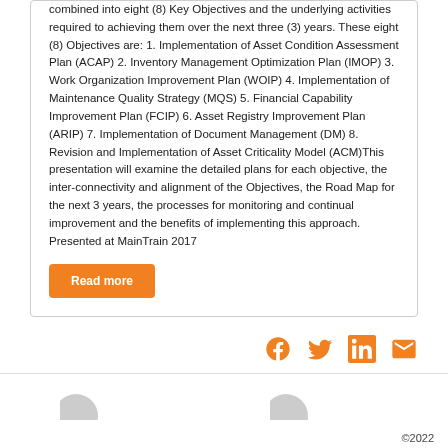combined into eight (8) Key Objectives and the underlying activities required to achieving them over the next three (3) years. These eight (8) Objectives are: 1. Implementation of Asset Condition Assessment Plan (ACAP) 2. Inventory Management Optimization Plan (IMOP) 3. Work Organization Improvement Plan (WOIP) 4. Implementation of Maintenance Quality Strategy (MQS) 5. Financial Capability Improvement Plan (FCIP) 6. Asset Registry Improvement Plan (ARIP) 7. Implementation of Document Management (DM) 8. Revision and Implementation of Asset Criticality Model (ACM)This presentation will examine the detailed plans for each objective, the inter-connectivity and alignment of the Objectives, the Road Map for the next 3 years, the processes for monitoring and continual improvement and the benefits of implementing this approach. Presented at MainTrain 2017
Read more
[Figure (other): Social media icons: Facebook, Twitter, LinkedIn, Email — displayed in orange]
©2022